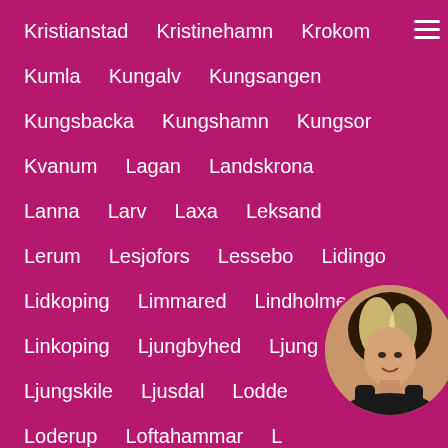Kristianstad
Kristinehamn
Krokom
Kumla
Kungalv
Kungsangen
Kungsbacka
Kungshamn
Kungsor
Kvanum
Lagan
Landskrona
Lanna
Larv
Laxa
Leksand
Lerum
Lesjofors
Lessebo
Lidingo
Lidkoping
Limmared
Lindholmen
Linkoping
Ljungbyhed
Ljung
Ljungskile
Ljusdal
Lodde
Loderup
Loftahammar
L
Luloa
Lundby
Lundsbrunn
Mala
[Figure (photo): Circular profile photo of a blonde woman wearing black gloves, posing against a pink/magenta background.]